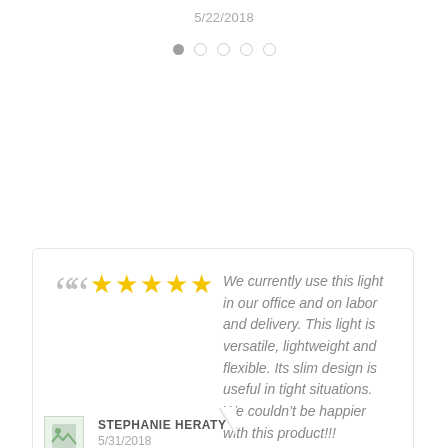5/22/2018
[Figure (other): Pagination dots row: one filled gray dot followed by four empty circle dots]
" ★★★★★ We currently use this light in our office and on labor and delivery. This light is versatile, lightweight and flexible. Its slim design is useful in tight situations. We couldn't be happier with this product!!!
[Figure (photo): Small avatar/profile image thumbnail with green tint, broken image icon]
STEPHANIE HERATY
5/31/2018